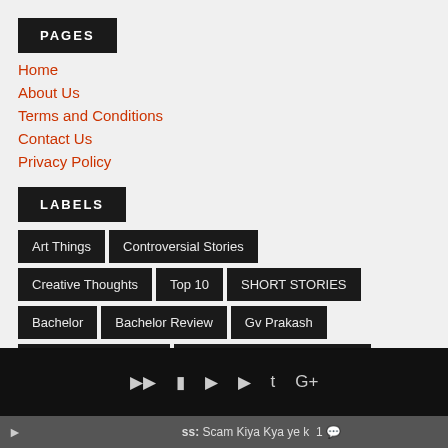PAGES
Home
About Us
Terms and Conditions
Contact Us
Privacy Policy
LABELS
Art Things
Controversial Stories
Creative Thoughts
Top 10
SHORT STORIES
Bachelor
Bachelor Review
Gv Prakash
Tamil Movie Bachelor
Tamil Movie Bachelor Review
ss: Scam Kiya Kya ye k  1